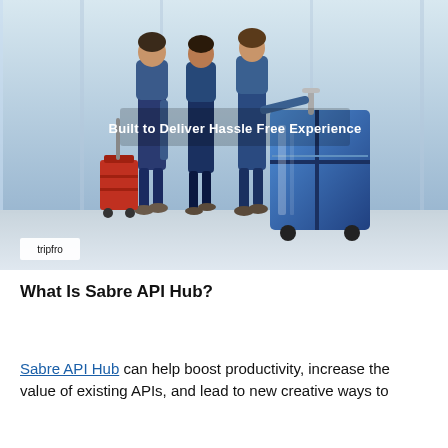[Figure (photo): Three travelers walking with luggage (including a large blue suitcase) in an airport terminal. White text overlay reads 'Built to Deliver Hassle Free Experience'. TripFro logo in white box at bottom left.]
What Is Sabre API Hub?
Sabre API Hub can help boost productivity, increase the value of existing APIs, and lead to new creative ways to